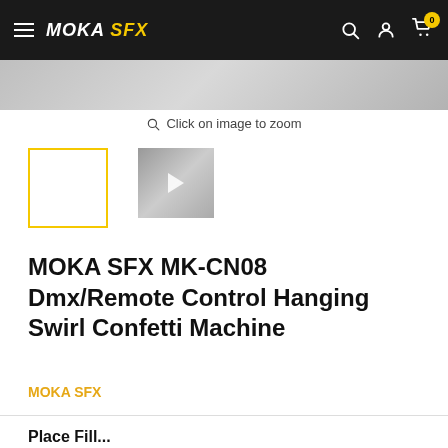MOKA SFX — website navigation header with hamburger menu, logo, search, account, and cart icons
[Figure (photo): Partially visible product photo strip at top of page]
Click on image to zoom
[Figure (photo): Selected product thumbnail (yellow border, blank/white)]
[Figure (photo): Video thumbnail with play button]
MOKA SFX MK-CN08 Dmx/Remote Control Hanging Swirl Confetti Machine
MOKA SFX
Place Fill...